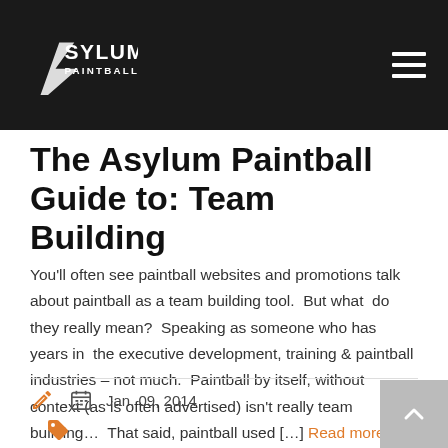Asylum Paintball
The Asylum Paintball Guide to: Team Building
You'll often see paintball websites and promotions talk about paintball as a team building tool.  But what  do they really mean?  Speaking as someone who has years in  the executive development, training & paintball industries – not much.  Paintball by itself, without context (as is often advertised) isn't really team building…  That said, paintball used […] Read more
Jan, 09, 2014